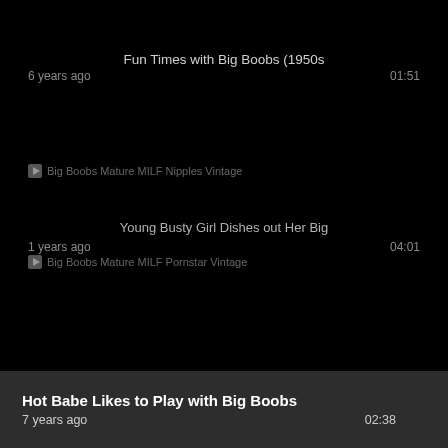Fun Times with Big Boobs (1950s
6 years ago  01:51
Big Boobs Mature MILF Nipples Vintage
Young Busty Girl Dishes out Her Big
1 years ago  04:01
Big Boobs Mature MILF Pornstar Vintage
Close [X]
Hot Babe Likes to Play with Big Boobs
7 years ago  02:38